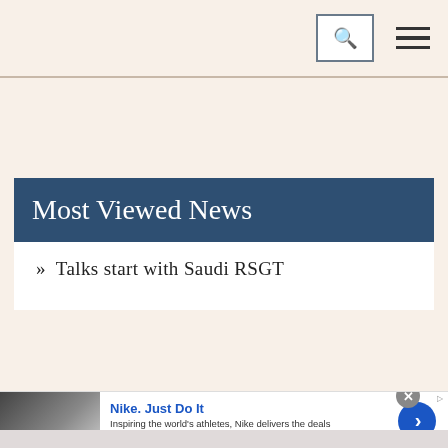[Search] [Menu]
Most Viewed News
» Talks start with Saudi RSGT
[Figure (screenshot): Nike advertisement banner: Nike Air Force 1 shoe image on left, 'Nike. Just Do It' headline in blue, 'Inspiring the world's athletes, Nike delivers the deals' subtext, 'www.nike.com' link in green, blue circular arrow button on right. Close (x) button top right.]